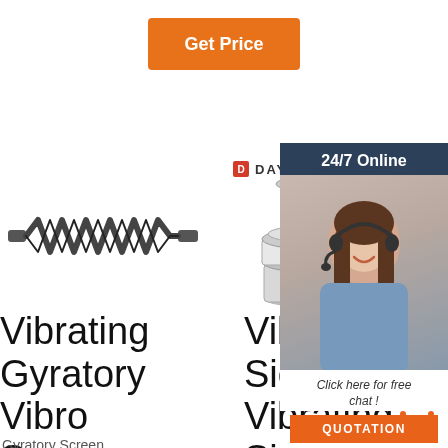[Figure (other): Orange 'Get Price' button]
[Figure (photo): Spring/vibrating screen component — metal spring with shaft]
[Figure (logo): DAYONG brand logo with red D icon]
[Figure (photo): Vibrating sieve machine — small white laboratory sieve/separator]
[Figure (infographic): 24/7 Online chat popup with woman wearing headset, 'Click here for free chat!' text, and QUOTATION orange button]
Vibrating Gyratory Vibro Screen Separators
Gyratory Screen
Vibrating Sieve - Vibrating Sieves Suppliers, Vibrating
Hi- Pr- Square Swing Gyratory Vibrating